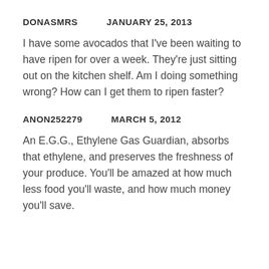DONASMRS    JANUARY 25, 2013
I have some avocados that I've been waiting to have ripen for over a week. They're just sitting out on the kitchen shelf. Am I doing something wrong? How can I get them to ripen faster?
ANON252279    MARCH 5, 2012
An E.G.G., Ethylene Gas Guardian, absorbs that ethylene, and preserves the freshness of your produce. You'll be amazed at how much less food you'll waste, and how much money you'll save.